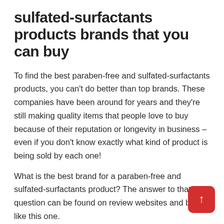sulfated-surfactants products brands that you can buy
To find the best paraben-free and sulfated-surfactants products, you can't do better than top brands. These companies have been around for years and they're still making quality items that people love to buy because of their reputation or longevity in business – even if you don't know exactly what kind of product is being sold by each one!
What is the best brand for a paraben-free and sulfated-surfactants product? The answer to that question can be found on review websites and blogs like this one.